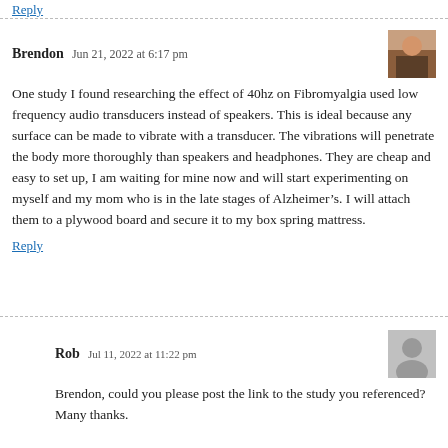Reply
Brendon   Jun 21, 2022 at 6:17 pm
One study I found researching the effect of 40hz on Fibromyalgia used low frequency audio transducers instead of speakers. This is ideal because any surface can be made to vibrate with a transducer. The vibrations will penetrate the body more thoroughly than speakers and headphones. They are cheap and easy to set up, I am waiting for mine now and will start experimenting on myself and my mom who is in the late stages of Alzheimer’s. I will attach them to a plywood board and secure it to my box spring mattress.
Reply
Rob   Jul 11, 2022 at 11:22 pm
Brendon, could you please post the link to the study you referenced? Many thanks.